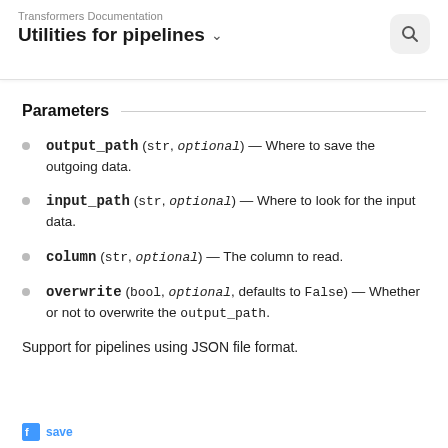Transformers Documentation
Utilities for pipelines
Parameters
output_path (str, optional) — Where to save the outgoing data.
input_path (str, optional) — Where to look for the input data.
column (str, optional) — The column to read.
overwrite (bool, optional, defaults to False) — Whether or not to overwrite the output_path.
Support for pipelines using JSON file format.
< save